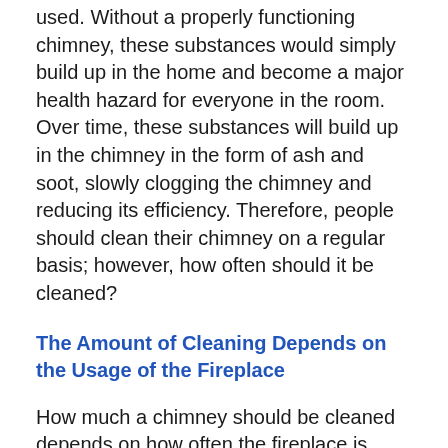used. Without a properly functioning chimney, these substances would simply build up in the home and become a major health hazard for everyone in the room. Over time, these substances will build up in the chimney in the form of ash and soot, slowly clogging the chimney and reducing its efficiency. Therefore, people should clean their chimney on a regular basis; however, how often should it be cleaned?
The Amount of Cleaning Depends on the Usage of the Fireplace
How much a chimney should be cleaned depends on how often the fireplace is used. If the fireplace is used more often, the chimney will need to be cleaned more often as well. At a minimum, a chimney should be cleaned at least once per year. Not only will the chimney be cleaned at this time but also it should be inspected to ensure it doesn't have any cracks or